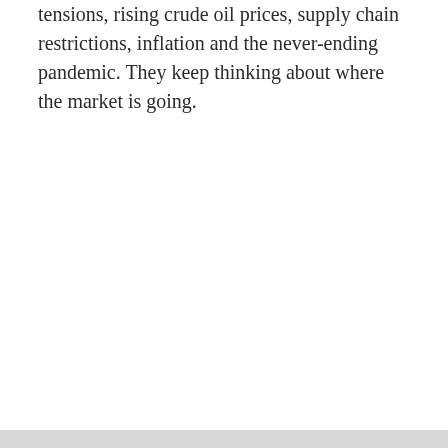tensions, rising crude oil prices, supply chain restrictions, inflation and the never-ending pandemic. They keep thinking about where the market is going.